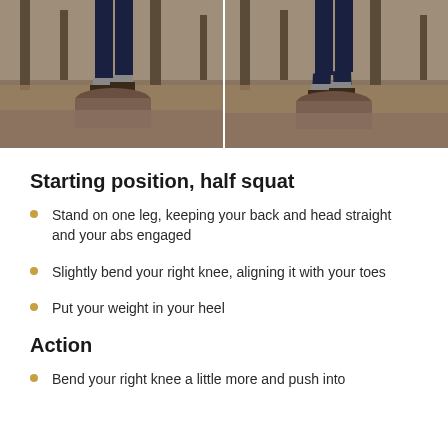[Figure (photo): Two side-by-side photos of a person's lower body standing on a tree stump in a forest, showing starting position for a half squat exercise. Left photo shows straight leg, right photo shows slightly bent knee.]
Starting position, half squat
Stand on one leg, keeping your back and head straight and your abs engaged
Slightly bend your right knee, aligning it with your toes
Put your weight in your heel
Action
Bend your right knee a little more and push into